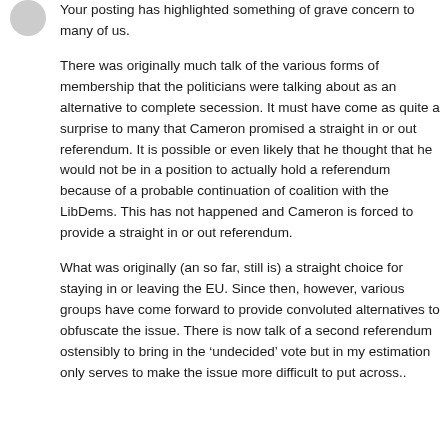Your posting has highlighted something of grave concern to many of us.
There was originally much talk of the various forms of membership that the politicians were talking about as an alternative to complete secession. It must have come as quite a surprise to many that Cameron promised a straight in or out referendum. It is possible or even likely that he thought that he would not be in a position to actually hold a referendum because of a probable continuation of coalition with the LibDems. This has not happened and Cameron is forced to provide a straight in or out referendum.
What was originally (an so far, still is) a straight choice for staying in or leaving the EU. Since then, however, various groups have come forward to provide convoluted alternatives to obfuscate the issue. There is now talk of a second referendum ostensibly to bring in the ‘undecided’ vote but in my estimation only serves to make the issue more difficult to put across..